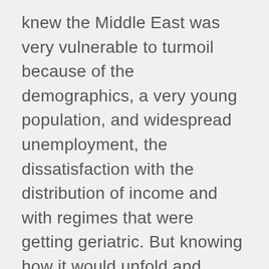knew the Middle East was very vulnerable to turmoil because of the demographics, a very young population, and widespread unemployment, the dissatisfaction with the distribution of income and with regimes that were getting geriatric. But knowing how it would unfold and knowing that somebody immolating themselves in a market in Tunisia would lead to this widespread discontent — and we still don't know how it will end — is a really remarkable occurrence that I think would be very difficult to predict in any way.